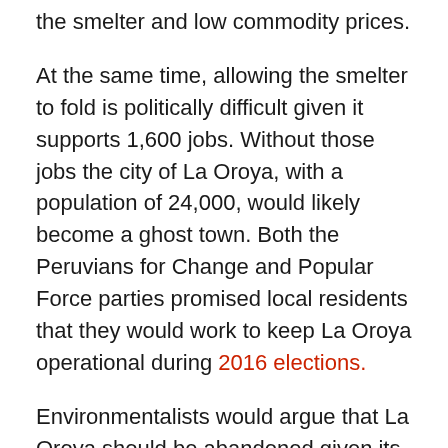the smelter and low commodity prices.
At the same time, allowing the smelter to fold is politically difficult given it supports 1,600 jobs. Without those jobs the city of La Oroya, with a population of 24,000, would likely become a ghost town. Both the Peruvians for Change and Popular Force parties promised local residents that they would work to keep La Oroya operational during 2016 elections.
Environmentalists would argue that La Oroya should be abandoned given its appalling health conditions. The city achieved infamy when TIME magazine named it one of the world’s ten most-polluted cities. A 2005 study showed that over 97% of children unacceptable levels of lead in their blood.
Keeping La Oroya open would require significant sacrifice in environmental standards. Labor leaders are calling for an easing of the emissions standards to make the smelter more attractive to investors. Advocates say that much of the environmental damage was done before Doe Run took over in 1997. But forgiving Doe Run’s environmental fines may also be required to bring a new company